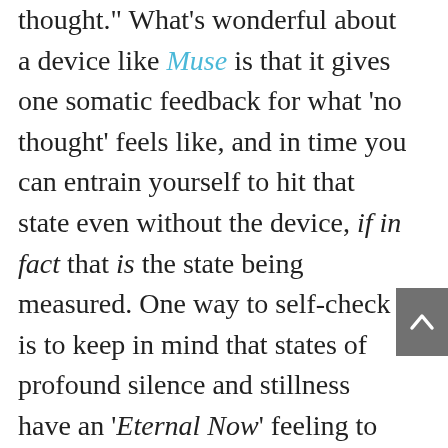thought." What's wonderful about a device like Muse is that it gives one somatic feedback for what 'no thought' feels like, and in time you can entrain yourself to hit that state even without the device, if in fact that is the state being measured. One way to self-check is to keep in mind that states of profound silence and stillness have an 'Eternal Now' feeling to them. These states can't be maintained very long without a kind of inner training and the discipline to still the mind consciously for periods of time. That stillness is like a reset button. In that stillness thoughts 'arise' in your mind from the pre-